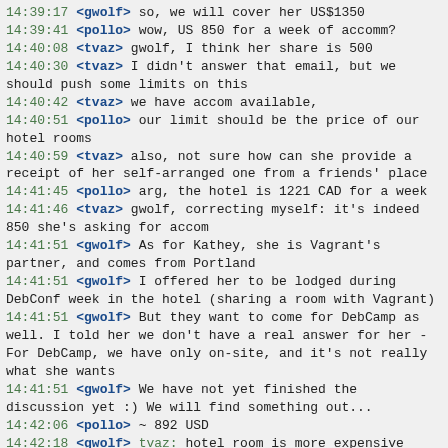14:39:17 <gwolf> so, we will cover her US$1350
14:39:41 <pollo> wow, US 850 for a week of accomm?
14:40:08 <tvaz> gwolf, I think her share is 500
14:40:30 <tvaz> I didn't answer that email, but we should push some limits on this
14:40:42 <tvaz> we have accom available,
14:40:51 <pollo> our limit should be the price of our hotel rooms
14:40:59 <tvaz> also, not sure how can she provide a receipt of her self-arranged one from a friends' place
14:41:45 <pollo> arg, the hotel is 1221 CAD for a week
14:41:46 <tvaz> gwolf, correcting myself: it's indeed 850 she's asking for accom
14:41:51 <gwolf> As for Kathey, she is Vagrant's partner, and comes from Portland
14:41:51 <gwolf> I offered her to be lodged during DebConf week in the hotel (sharing a room with Vagrant)
14:41:51 <gwolf> But they want to come for DebCamp as well. I told her we don't have a real answer for her - For DebCamp, we have only on-site, and it's not really what she wants
14:41:51 <gwolf> We have not yet finished the discussion yet :) We will find something out...
14:42:06 <pollo> ~ 892 USD
14:42:18 <gwolf> tvaz: hotel room is more expensive
14:42:41 <gwolf> I think our third candidate will stay for less than the whole DebConf week
14:42:50 <pollo> gwolf: does the content team have a timeline?
14:43:23 <gwolf> pollo: not a clear one :)